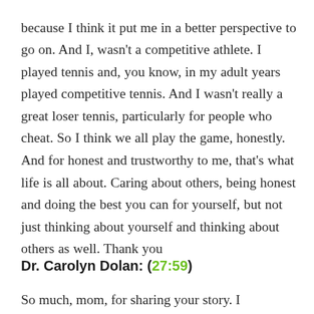because I think it put me in a better perspective to go on. And I, wasn't a competitive athlete. I played tennis and, you know, in my adult years played competitive tennis. And I wasn't really a great loser tennis, particularly for people who cheat. So I think we all play the game, honestly. And for honest and trustworthy to me, that's what life is all about. Caring about others, being honest and doing the best you can for yourself, but not just thinking about yourself and thinking about others as well. Thank you
Dr. Carolyn Dolan: (27:59)
So much, mom, for sharing your story. I